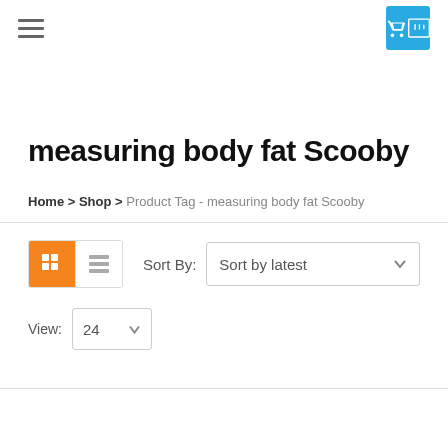Navigation bar with hamburger menu and cart button
measuring body fat Scooby
Home > Shop > Product Tag - measuring body fat Scooby
Sort By: Sort by latest | View: 24